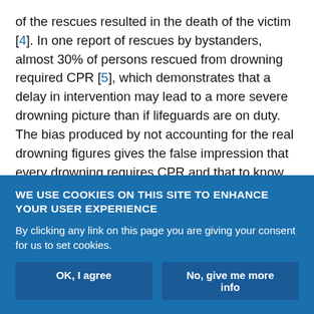of the rescues resulted in the death of the victim [4]. In one report of rescues by bystanders, almost 30% of persons rescued from drowning required CPR [5], which demonstrates that a delay in intervention may lead to a more severe drowning picture than if lifeguards are on duty. The bias produced by not accounting for the real drowning figures gives the false impression that every drowning requires CPR and that to know how to resuscitate is the most important tool to save people from drowning [6]. For every person who dies from drowning, at least another four receive care in the emergency department for nonfatal drowning [1].
WE USE COOKIES ON THIS SITE TO ENHANCE YOUR USER EXPERIENCE
By clicking any link on this page you are giving your consent for us to set cookies.